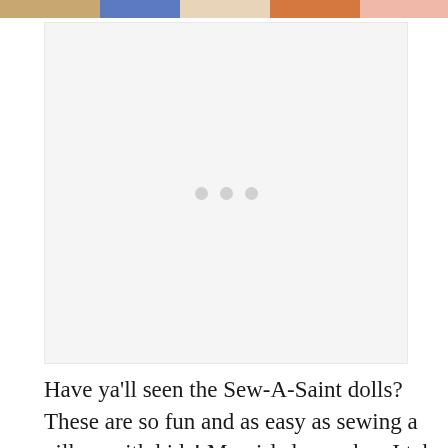[Figure (photo): Cropped top portion of a photo showing colorful items, possibly dolls or fabric craft projects in blue, orange, and pink tones]
[Figure (other): Advertisement placeholder box with three grey dots indicating loading or ad content]
Have ya'll seen the Sew-A-Saint dolls? These are so fun and as easy as sewing a pillow with kids! My girls love when I take the time to sew with them, and they